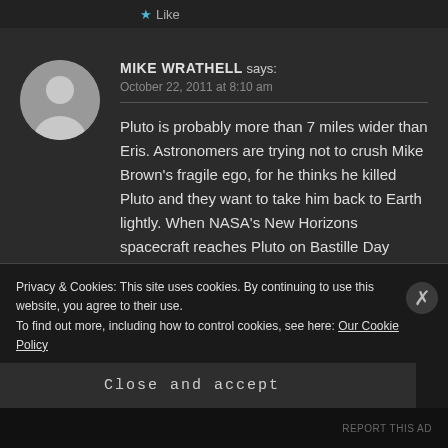[Figure (screenshot): Screenshot of a website comment section with a dark theme showing a user comment by Mike Wrathell about Pluto, with a cookie consent banner overlay at the bottom.]
Like
MIKE WRATHELL says:
October 22, 2011 at 8:10 am
Pluto is probably more than 7 miles wider than Eris. Astronomers are trying not to crush Mike Brown's fragile ego, for he thinks he killed Pluto and they want to take him back to Earth lightly. When NASA's New Horizons spacecraft reaches Pluto on Bastille Day 2015, it
Privacy & Cookies: This site uses cookies. By continuing to use this website, you agree to their use.
To find out more, including how to control cookies, see here: Our Cookie Policy
Close and accept